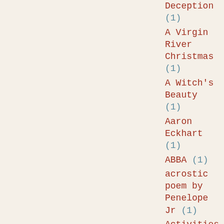Deception (1)
A Virgin River Christmas (1)
A Witch's Beauty (1)
Aaron Eckhart (1)
ABBA (1)
acrostic poem by Penelope Jr (1)
Activities